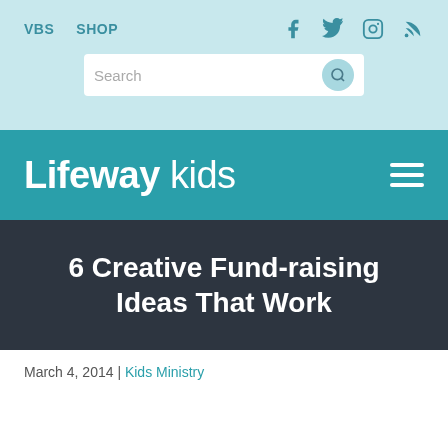VBS  SHOP
6 Creative Fund-raising Ideas That Work
March 4, 2014 | Kids Ministry
[Figure (screenshot): Broken image placeholder labeled Mar_6-2 with social share buttons for Facebook, Twitter, LinkedIn, Email, and Print]